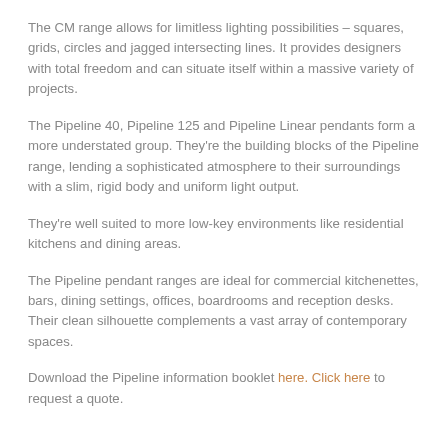The CM range allows for limitless lighting possibilities – squares, grids, circles and jagged intersecting lines. It provides designers with total freedom and can situate itself within a massive variety of projects.
The Pipeline 40, Pipeline 125 and Pipeline Linear pendants form a more understated group. They're the building blocks of the Pipeline range, lending a sophisticated atmosphere to their surroundings with a slim, rigid body and uniform light output.
They're well suited to more low-key environments like residential kitchens and dining areas.
The Pipeline pendant ranges are ideal for commercial kitchenettes, bars, dining settings, offices, boardrooms and reception desks. Their clean silhouette complements a vast array of contemporary spaces.
Download the Pipeline information booklet here. Click here to request a quote.